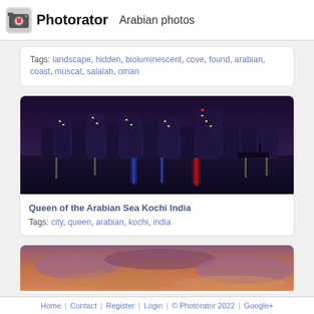Photorator — Arabian photos
Tags: landscape, hidden, bioluminescent, cove, found, arabian, coast, muscat, salalah, oman
Queen of the Arabian Sea Kochi India
Tags: city, queen, arabian, kochi, india
[Figure (photo): Nighttime cityscape of Kochi India reflected on water, with city lights in purple and red tones]
[Figure (photo): Partial view of a sunset or atmospheric sky scene, cut off at bottom of page]
Home | Contact | Register | Login | © Photorator 2022 | Google+